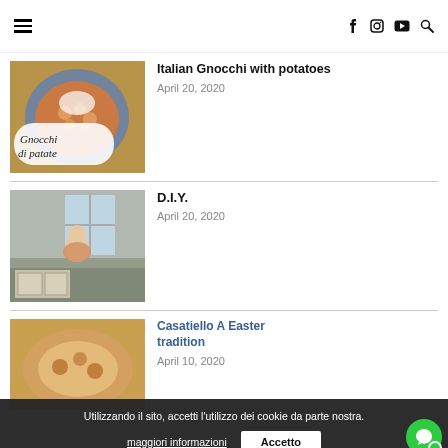Navigation bar with hamburger menu, facebook, instagram, youtube, and search icons
[Figure (photo): Photo of gnocchi dish on blue plate with text overlay 'Gnocchi di patate']
Italian Gnocchi with potatoes
April 20, 2020
[Figure (photo): Photo of a child sitting on a kitchen counter]
D.I.Y.
April 20, 2020
[Figure (photo): Photo of Casatiello bread, partially visible]
Casatiello A Easter tradition
April 10, 2020
Utilizzando il sito, accetti l'utilizzo dei cookie da parte nostra. maggiori informazioni
Accetto